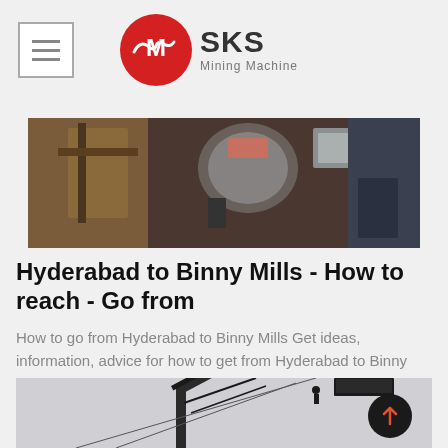SKS Mining Machine
[Figure (photo): Industrial mining machinery close-up with mechanical parts and components visible]
Hyderabad to Binny Mills - How to reach - Go from
How to go from Hyderabad to Binny Mills Get ideas, information, advice for how to get from Hyderabad to Binny Mills and for how to go Hyderabad to Binny Mills.
[Figure (photo): Black and white photo of industrial conveyor belt structure with a person visible on scaffolding against grey sky]